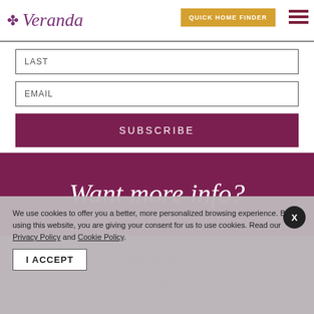Veranda
LAST
EMAIL
SUBSCRIBE
Want more info?
We use cookies to offer you a better, more personalized browsing experience. By using this website, you are giving your consent for us to use cookies. Read our Privacy Policy and Cookie Policy.
I ACCEPT